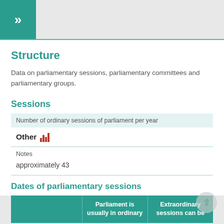»
Structure
Data on parliamentary sessions, parliamentary committees and parliamentary groups.
Sessions
Number of ordinary sessions of parliament per year
Other [bar chart icon]
Notes
approximately 43
Dates of parliamentary sessions
|  | Parliament is usually in ordinary | Extraordinary sessions can be |
| --- | --- | --- |